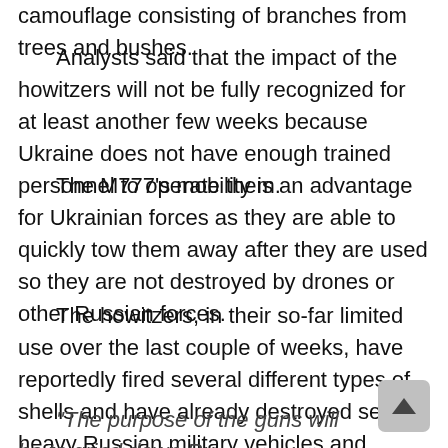camouflage consisting of branches from trees and bushes.
Analysts said that the impact of the howitzers will not be fully recognized for at least another few weeks because Ukraine does not have enough trained personnel to operate them.
The M777's mobility is an advantage for Ukrainian forces as they are able to quickly tow them away after they are used so they are not destroyed by drones or other Russian forces.
The howitzers, in their so-far limited use over the last couple of weeks, have reportedly fired several different types of shells and have already destroyed several heavy Russian military vehicles and scores of Russian troops.
“The purpose of the guns will be to grind down Ru… positions and military infrastructure, such as commu…